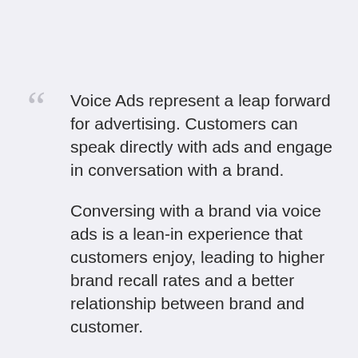Voice Ads represent a leap forward for advertising. Customers can speak directly with ads and engage in conversation with a brand.

Conversing with a brand via voice ads is a lean-in experience that customers enjoy, leading to higher brand recall rates and a better relationship between brand and customer.
– STAS TUSHINSKIY , CEO AT INSTREAMATIC